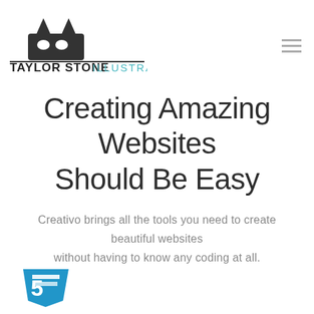[Figure (logo): Taylor Stone Illustration logo: black cat face silhouette above a horizontal line, with 'TAYLOR STONE ILLUSTRATION' text below in mixed black handwritten and teal/cyan display font]
Creating Amazing Websites Should Be Easy
Creativo brings all the tools you need to create beautiful websites without having to know any coding at all.
[Figure (logo): HTML5 shield logo in blue and white, partially visible at bottom left]